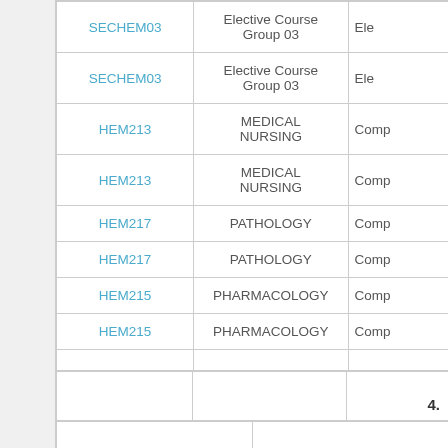| Code | Course Name | Type |
| --- | --- | --- |
| SECHEM03 | Elective Course Group 03 | Ele... |
| SECHEM03 | Elective Course Group 03 | Ele... |
| HEM213 | MEDICAL NURSING | Comp... |
| HEM213 | MEDICAL NURSING | Comp... |
| HEM217 | PATHOLOGY | Comp... |
| HEM217 | PATHOLOGY | Comp... |
| HEM215 | PHARMACOLOGY | Comp... |
| HEM215 | PHARMACOLOGY | Comp... |
|  |  |  |
|  |  | 4. |
|  |  |